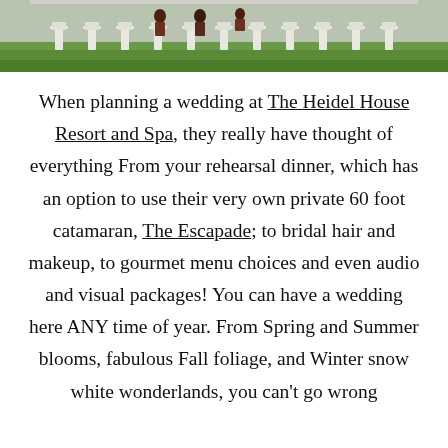[Figure (photo): Outdoor wedding venue photo showing white chairs arranged on green grass, with people visible in the background]
When planning a wedding at The Heidel House Resort and Spa, they really have thought of everything From your rehearsal dinner, which has an option to use their very own private 60 foot catamaran, The Escapade; to bridal hair and makeup, to gourmet menu choices and even audio and visual packages! You can have a wedding here ANY time of year. From Spring and Summer blooms, fabulous Fall foliage, and Winter snow white wonderlands, you can't go wrong